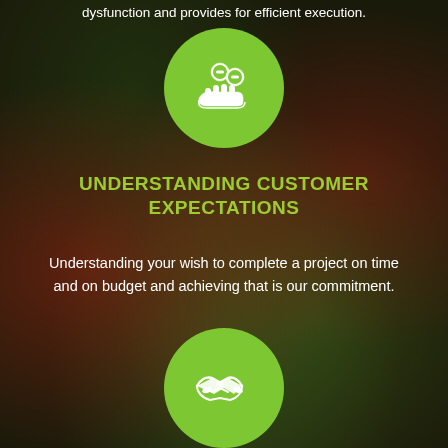dysfunction and provides for efficient execution.
[Figure (illustration): Green circle icon with a hand holding two coins with minus symbols (cost/savings icon)]
UNDERSTANDING CUSTOMER EXPECTATIONS
Understanding your wish to complete a project on time and on budget and achieving that is our commitment.
[Figure (illustration): Green circle icon with a handshake symbol]